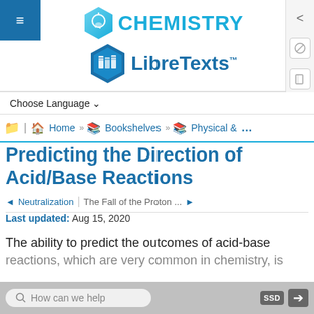[Figure (logo): Chemistry LibreTexts logo with hexagon icons and text]
Choose Language
Home » Bookshelves » Physical & ...
Predicting the Direction of Acid/Base Reactions
◄ Neutralization | The Fall of the Proton ... ►
Last updated: Aug 15, 2020
The ability to predict the outcomes of acid-base reactions, which are very common in chemistry, is